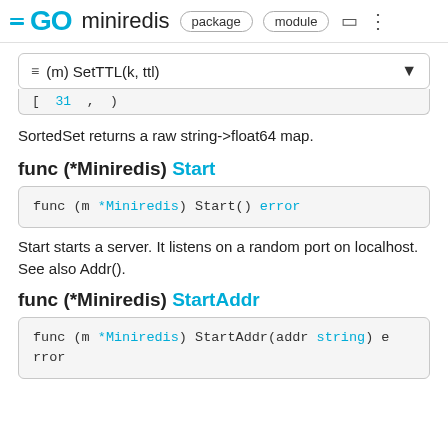GO miniredis  package  module
≡ (m) SetTTL(k, ttl)
[  31  ,  )
SortedSet returns a raw string->float64 map.
func (*Miniredis) Start
func (m *Miniredis) Start() error
Start starts a server. It listens on a random port on localhost. See also Addr().
func (*Miniredis) StartAddr
func (m *Miniredis) StartAddr(addr string) error